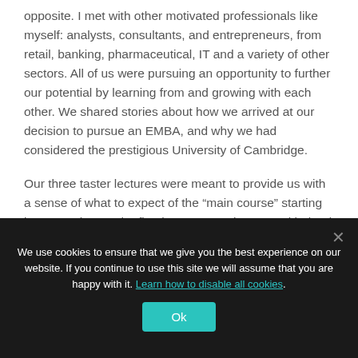opposite.  I met with other motivated professionals like myself: analysts, consultants, and entrepreneurs, from retail, banking, pharmaceutical, IT and a variety of other sectors. All of us were pursuing an opportunity to further our potential by learning from and growing with each other. We shared stories about how we arrived at our decision to pursue an EMBA, and why we had considered the prestigious University of Cambridge.
Our three taster lectures were meant to provide us with a sense of what to expect of the “main course” starting in September.  In the first lecture, Dr. Shaz Ansari helped flex our strategic muscles. He challenged us to collaborate with each other and develop ideas for creating ecosystems around fitness centres and pharmacy
We use cookies to ensure that we give you the best experience on our website. If you continue to use this site we will assume that you are happy with it. Learn how to disable all cookies. Ok